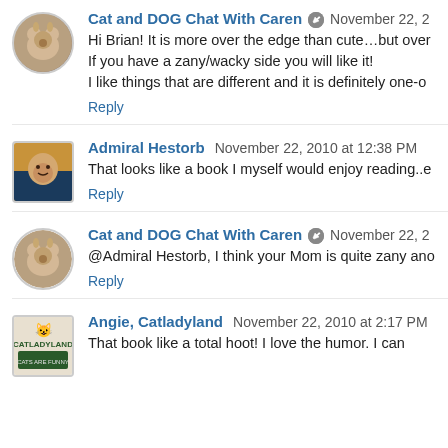Cat and DOG Chat With Caren [edit icon] November 22, 2
Hi Brian! It is more over the edge than cute...but over
If you have a zany/wacky side you will like it!
I like things that are different and it is definitely one-o
Reply
Admiral Hestorb November 22, 2010 at 12:38 PM
That looks like a book I myself would enjoy reading..e
Reply
Cat and DOG Chat With Caren [edit icon] November 22, 2
@Admiral Hestorb, I think your Mom is quite zany ano
Reply
Angie, Catladyland November 22, 2010 at 2:17 PM
That book like a total hoot! I love the humor. I can